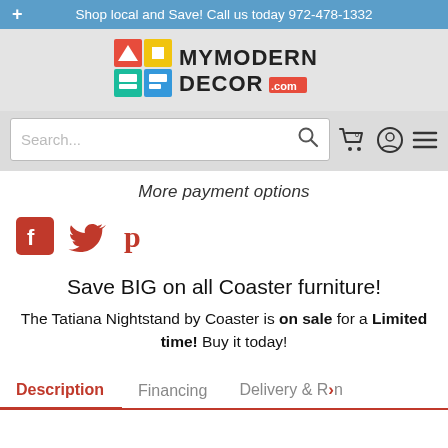+ Shop local and Save! Call us today 972-478-1332
[Figure (logo): MyModern Decor .com logo with colorful geometric icons]
[Figure (screenshot): Search bar with magnifying glass icon, shopping cart, user account, and hamburger menu icons]
More payment options
[Figure (infographic): Social media icons: Facebook (red), Twitter (red), Pinterest (red)]
Save BIG on all Coaster furniture!
The Tatiana Nightstand by Coaster is on sale for a Limited time! Buy it today!
Description | Financing | Delivery & R... n